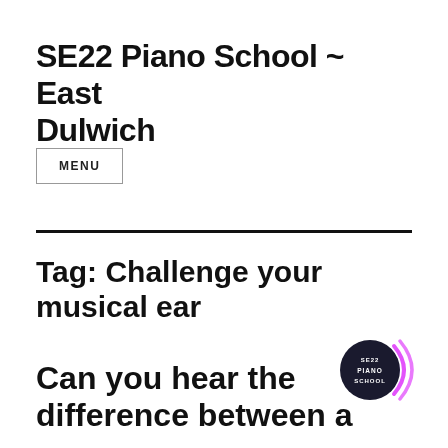SE22 Piano School ~ East Dulwich
MENU
Tag: Challenge your musical ear
[Figure (logo): SE22 Piano School circular logo badge with dark background and magenta/purple arc lines]
Can you hear the difference between a